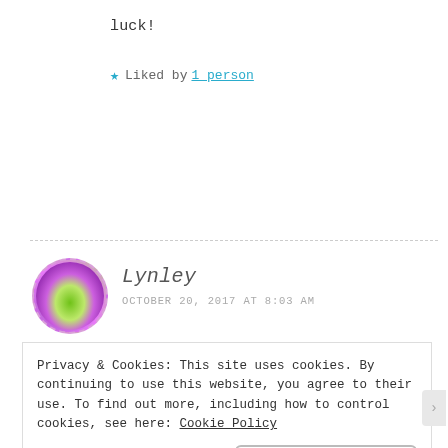luck!
★ Liked by 1 person
[Figure (illustration): Circular avatar with dashed purple border showing purple flowers and green foliage]
Lynley
OCTOBER 20, 2017 AT 8:03 AM
Privacy & Cookies: This site uses cookies. By continuing to use this website, you agree to their use.
To find out more, including how to control cookies, see here: Cookie Policy

Close and accept